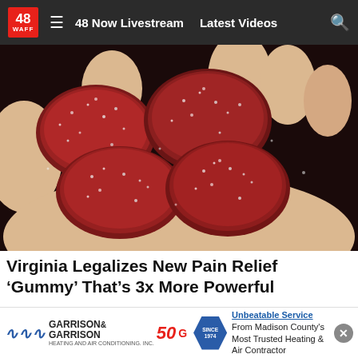48 WAFF  ≡  48 Now Livestream  Latest Videos  🔍
[Figure (photo): Close-up photo of several red/dark-red sugar-coated gummy candies being held in an open hand against a dark background.]
Virginia Legalizes New Pain Relief ‘Gummy’ That’s 3x More Powerful
Health Headlines | Sponsored
[Figure (screenshot): Partial view of a news broadcast or video thumbnail with dark blue background and a crescent moon graphic.]
[Figure (infographic): Advertisement banner for Garrison & Garrison Heating & Air: logo with wavy lines, '50' anniversary badge, and text 'Unbeatable Service From Madison County's Most Trusted Heating & Air Contractor']